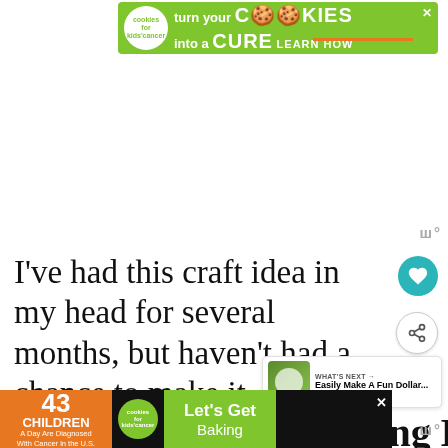[Figure (screenshot): Top banner advertisement for Cookies for Kids Cancer: 'turn your COOKIES into a CURE LEARN HOW' on green background]
I’ve had this craft idea in my head for several months, but haven’t had a chance to make it.
DIY Dollar Tree Cutting Board
[Figure (screenshot): Bottom banner advertisement: '43 CHILDREN A Day Are Diagnosed With Cancer in the U.S.' with Cookies for Kids Cancer logo and 'Let’s Get Baking' on green background]